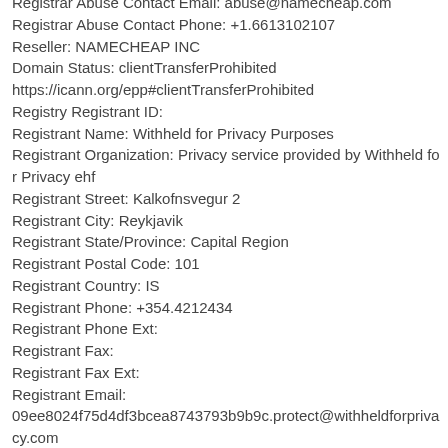Registrar Abuse Contact Email: abuse@namecheap.com
Registrar Abuse Contact Phone: +1.6613102107
Reseller: NAMECHEAP INC
Domain Status: clientTransferProhibited
https://icann.org/epp#clientTransferProhibited
Registry Registrant ID:
Registrant Name: Withheld for Privacy Purposes
Registrant Organization: Privacy service provided by Withheld for Privacy ehf
Registrant Street: Kalkofnsvegur 2
Registrant City: Reykjavik
Registrant State/Province: Capital Region
Registrant Postal Code: 101
Registrant Country: IS
Registrant Phone: +354.4212434
Registrant Phone Ext:
Registrant Fax:
Registrant Fax Ext:
Registrant Email:
09ee8024f75d4df3bcea8743793b9b9c.protect@withheldforprivacy.com
Registry Admin ID: